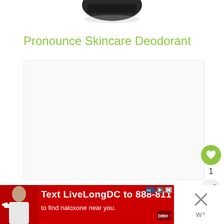[Figure (photo): Top portion of a product image (possibly a deodorant container), cropped at the top of the page]
Pronounce Skincare Deodorant
[Figure (screenshot): Large white/light gray content area box, part of a webpage]
[Figure (infographic): Heart (like/favorite) button in green circle, count of 1, and share button below]
[Figure (photo): Red advertisement banner: 'Text LiveLongDC to 888-811 to find naloxone near you.' with person holding product on left, ad icons top right, DBH logo bottom right]
[Figure (other): Close X button and Wordmark logo on the right side at the bottom]